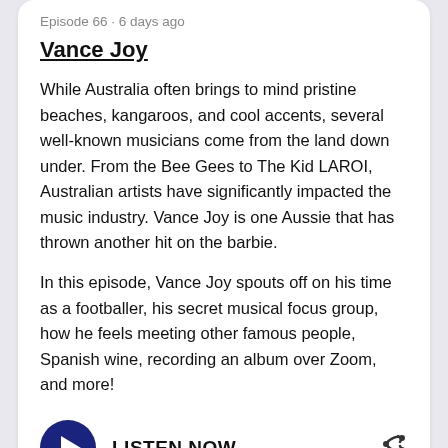Episode 66 · 6 days ago
Vance Joy
While Australia often brings to mind pristine beaches, kangaroos, and cool accents, several well-known musicians come from the land down under. From the Bee Gees to The Kid LAROI, Australian artists have significantly impacted the music industry. Vance Joy is one Aussie that has thrown another hit on the barbie.
In this episode, Vance Joy spouts off on his time as a footballer, his secret musical focus group, how he feels meeting other famous people, Spanish wine, recording an album over Zoom, and more!
LISTEN NOW
Episode 65 · 3 weeks ago
Demi Lovato